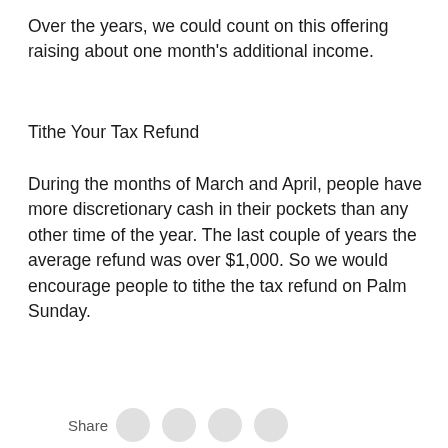Over the years, we could count on this offering raising about one month's additional income.
Tithe Your Tax Refund
During the months of March and April, people have more discretionary cash in their pockets than any other time of the year. The last couple of years the average refund was over $1,000. So we would encourage people to tithe the tax refund on Palm Sunday.
Share